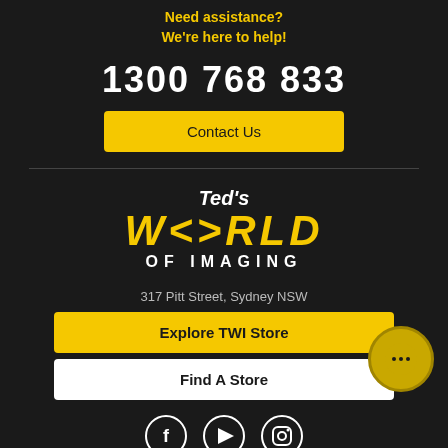Need assistance?
We're here to help!
1300 768 833
Contact Us
[Figure (logo): Ted's World of Imaging logo with stylized text]
317 Pitt Street, Sydney NSW
Explore TWI Store
Find A Store
[Figure (illustration): Social media icons: Facebook, YouTube, Instagram]